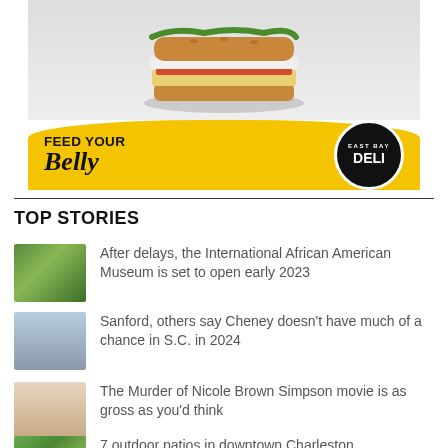[Figure (photo): Advertisement for East Bay Deli showing a sandwich photo above a yellow banner with 'FEED YOUR Belly' text and the East Bay Deli logo]
TOP STORIES
After delays, the International African American Museum is set to open early 2023
Sanford, others say Cheney doesn't have much of a chance in S.C. in 2024
The Murder of Nicole Brown Simpson movie is as gross as you'd think
7 outdoor patios in downtown Charleston